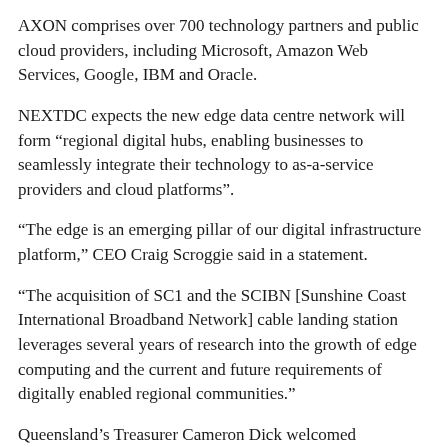AXON comprises over 700 technology partners and public cloud providers, including Microsoft, Amazon Web Services, Google, IBM and Oracle.
NEXTDC expects the new edge data centre network will form “regional digital hubs, enabling businesses to seamlessly integrate their technology to as-a-service providers and cloud platforms”.
“The edge is an emerging pillar of our digital infrastructure platform,” CEO Craig Scroggie said in a statement.
“The acquisition of SC1 and the SCIBN [Sunshine Coast International Broadband Network] cable landing station leverages several years of research into the growth of edge computing and the current and future requirements of digitally enabled regional communities.”
Queensland’s Treasurer Cameron Dick welcomed NEXTDC’s investment, which he said followed the government’s decision to partner with the Sunshine Coast Council to secure the cable landing.